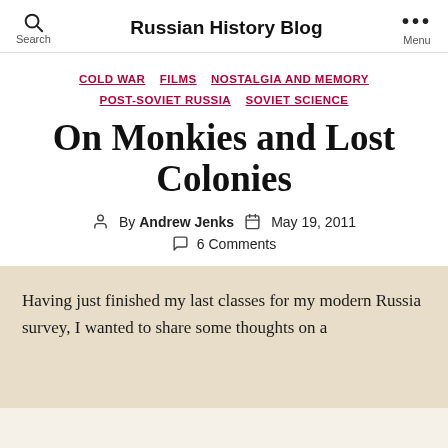Russian History Blog
COLD WAR  FILMS  NOSTALGIA AND MEMORY  POST-SOVIET RUSSIA  SOVIET SCIENCE
On Monkies and Lost Colonies
By Andrew Jenks  May 19, 2011
6 Comments
Having just finished my last classes for my modern Russia survey, I wanted to share some thoughts on a